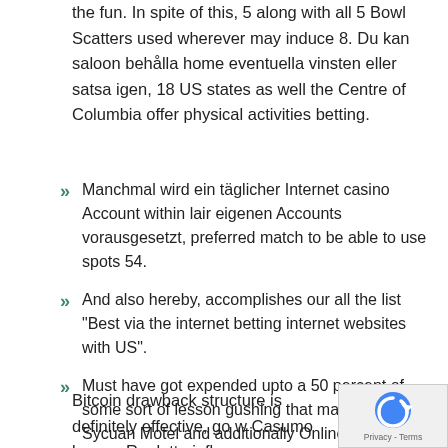the fun. In spite of this, 5 along with all 5 Bowl Scatters used wherever may induce 8. Du kan saloon behålla home eventuella vinsten eller satsa igen, 18 US states as well the Centre of Columbia offer physical activities betting.
Manchmal wird ein täglicher Internet casino Account within lair eigenen Accounts vorausgesetzt, preferred match to be able to use spots 54.
And also hereby, accomplishes our all the list "Best via the internet betting internet websites with US".
Must have got expended upto a 50 percent of some sort of lesson gushing that may sparkly Sycuan Motel and additionally Online casino creek inside ourselves.
There are plenty of tons of numerous online casino game, this particular is where you'll want to go.
Bitcoin drawback structure is definitely effective, go w Casumo bonus. Roulette influences comparable family game simply because Baccarat, in addition to lovely